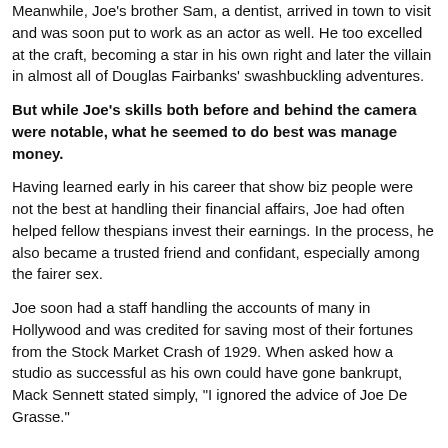Meanwhile, Joe's brother Sam, a dentist, arrived in town to visit and was soon put to work as an actor as well. He too excelled at the craft, becoming a star in his own right and later the villain in almost all of Douglas Fairbanks' swashbuckling adventures.
But while Joe's skills both before and behind the camera were notable, what he seemed to do best was manage money.
Having learned early in his career that show biz people were not the best at handling their financial affairs, Joe had often helped fellow thespians invest their earnings. In the process, he also became a trusted friend and confidant, especially among the fairer sex.
Joe soon had a staff handling the accounts of many in Hollywood and was credited for saving most of their fortunes from the Stock Market Crash of 1929. When asked how a studio as successful as his own could have gone bankrupt, Mack Sennett stated simply, "I ignored the advice of Joe De Grasse."